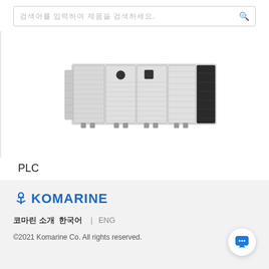검색어를 입력하여 제품을 검색하세요.
[Figure (photo): PLC hardware module unit, top-down view showing multiple stacked rectangular modules with connectors, light gray color, black right-side module]
PLC
[Figure (logo): Komarine logo with blue anchor icon and blue bold text KOMARINE]
코마린 소개  한국어  |  ENG
©2021 Komarine Co. All rights reserved.